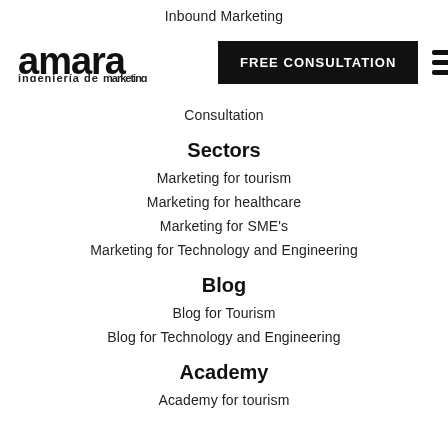Inbound Marketing
[Figure (logo): Amara ingeniería de marketing logo — bold black text with stylized 'a']
FREE CONSULTATION
Consultation
Sectors
Marketing for tourism
Marketing for healthcare
Marketing for SME's
Marketing for Technology and Engineering
Blog
Blog for Tourism
Blog for Technology and Engineering
Academy
Academy for tourism